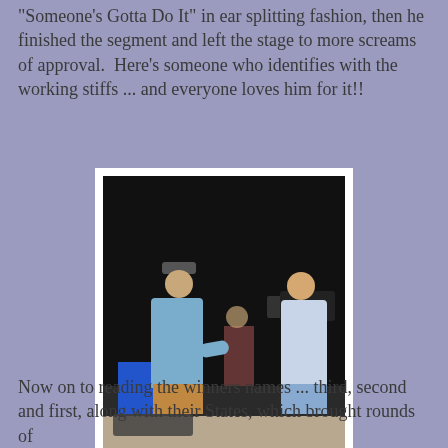"Someone's Gotta Do It" in ear splitting fashion, then he finished the segment and left the stage to more screams of approval.  Here's someone who identifies with the working stiffs ... and everyone loves him for it!!
[Figure (photo): A man in a blue shirt and tan pants stands on a stage with outstretched arms facing a cameraman who is filming him with a large camera on a tripod. A figure in a red jacket stands in the background. Camera equipment is visible at the bottom of the frame.]
Now on to reading the winners names ... third, second and first, along with their States, which brought rounds of